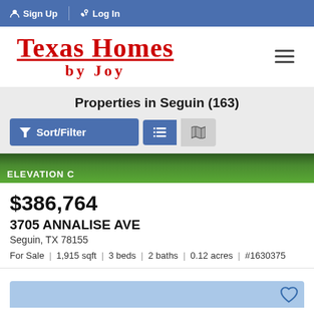Sign Up  Log In
Texas Homes by Joy
Properties in Seguin (163)
[Figure (screenshot): Sort/Filter button and view toggle buttons (list view and map view)]
[Figure (photo): ELEVATION C - green lawn photo strip]
$386,764
3705 ANNALISE AVE
Seguin, TX 78155
For Sale | 1,915 sqft | 3 beds | 2 baths | 0.12 acres | #1630375
[Figure (screenshot): Bottom partial card with light blue background and heart icon]